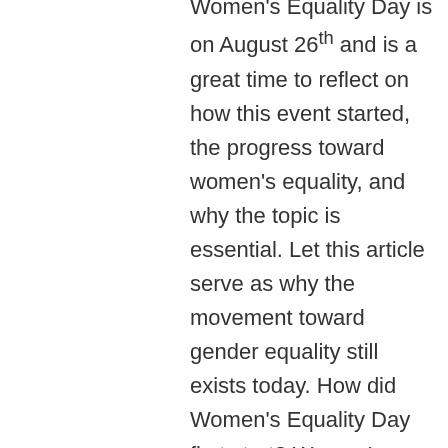Women's Equality Day is on August 26th and is a great time to reflect on how this event started, the progress toward women's equality, and why the topic is essential. Let this article serve as why the movement toward gender equality still exists today. How did Women's Equality Day first start? Women's Equality Day commemorates the 1920 adoption of the Nineteenth Amendment to the United States Constitution, which prohibits the states and the federal government from denying the right to vote to citizens of the United States based on sex. This day was first